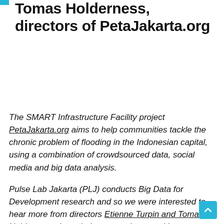Interview with Etienne Turpin and Tomas Holderness, directors of PetaJakarta.org
The SMART Infrastructure Facility project PetaJakarta.org aims to help communities tackle the chronic problem of flooding in the Indonesian capital, using a combination of crowdsourced data, social media and big data analysis.
Pulse Lab Jakarta (PLJ) conducts Big Data for Development research and so we were interested to hear more from directors Etienne Turpin and Tomas Holderness about their perspectives on citizen engagement and the